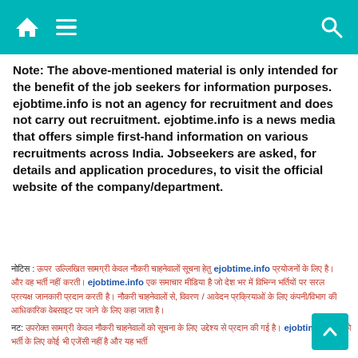ejobtime.info - navigation header
Note: The above-mentioned material is only intended for the benefit of the job seekers for information purposes. ejobtime.info is not an agency for recruitment and does not carry out recruitment. ejobtime.info is a news media that offers simple first-hand information on various recruitments across India. Jobseekers are asked, for details and application procedures, to visit the official website of the company/department.
नोटिस : ऊपर उल्लिखित सामग्री केवल नौकरी चाहनेवालों सूचना हेतु ejobtime.info प्रयोजनों के लिए है। ejobtime.info भर्ती के लिए कोई एजेंसी नहीं है और यह भर्ती प्रक्रिया नहीं करती। ejobtime.info एक समाचार मीडिया है जो भारत भर में विभिन्न भर्तियों पर सरल प्रत्यक्ष जानकारी प्रदान करती है। नौकरी चाहनेवालों से कहा जाता है, विवरण / आवेदन प्रक्रियाओं के लिए कंपनी/विभाग की आधिकारिक वेबसाइट पर जाएं।
नट: उपरोक्त सामग्री केवल नौकरी चाहनेवालों को सूचना के लिए ejobtime.info लाभ हेतु प्रदान की गई है।